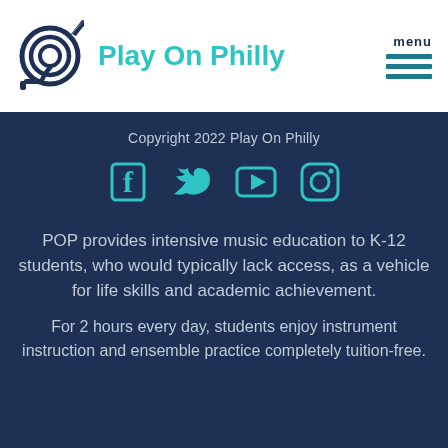[Figure (logo): Play On Philly logo — circular horn/trumpet instrument icon in dark navy, with teal text 'Play On Philly']
menu
Copyright 2022 Play On Philly
[Figure (infographic): Social media icons: Facebook, Twitter, YouTube, Instagram in teal color]
POP provides intensive music education to K-12 students, who would typically lack access, as a vehicle for life skills and academic achievement.
For 2 hours every day, students enjoy instrument instruction and ensemble practice completely tuition-free.